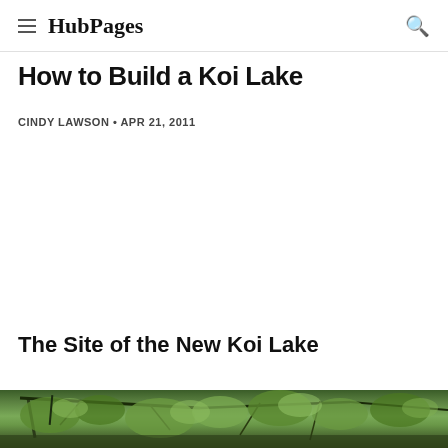HubPages
How to Build a Koi Lake
CINDY LAWSON • APR 21, 2011
The Site of the New Koi Lake
[Figure (photo): Photograph of a wooded outdoor area with trees and green foliage, showing the site of a new koi lake]